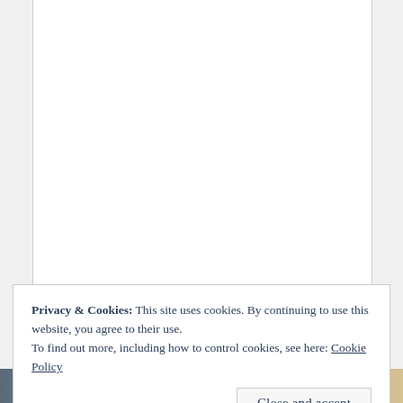[Figure (other): White document background area representing a web page content region]
Privacy & Cookies: This site uses cookies. By continuing to use this website, you agree to their use.
To find out more, including how to control cookies, see here: Cookie Policy
Close and accept
[Figure (photo): Bottom strip showing a partial photograph, appears to show a person on the left and a natural/landscape scene on the right]